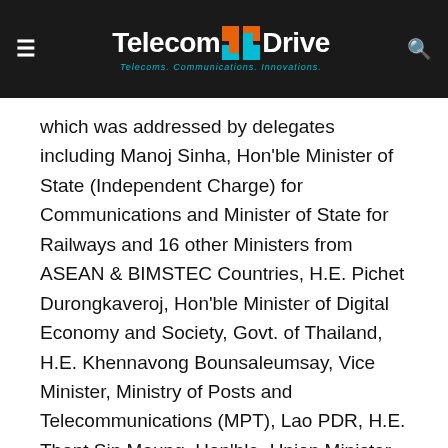TelecomDrive — Telecoms. Communications. Innovations.
which was addressed by delegates including Manoj Sinha, Hon'ble Minister of State (Independent Charge) for Communications and Minister of State for Railways and 16 other Ministers from ASEAN & BIMSTEC Countries, H.E. Pichet Durongkaveroj, Hon'ble Minister of Digital Economy and Society, Govt. of Thailand, H.E. Khennavong Bounsaleumsay, Vice Minister, Ministry of Posts and Telecommunications (MPT), Lao PDR, H.E. Thant Sin Maung, Hon'ble, Union Minister of Transport and Communications, Govt. of Myanmar, H.E. Chea Manit, Under Secretary of State, Ministry of Posts & Telecommunications (MPTC), H.E. Tram Iv Tek, Minister of Posts and Telecommunication, H.E. M Shahidul Islam, Secretary General, BIMSTEC. A number of topics curated for consumer interest garnered excitement and enthusiastic participation from the delegates. One such session involved a discussion